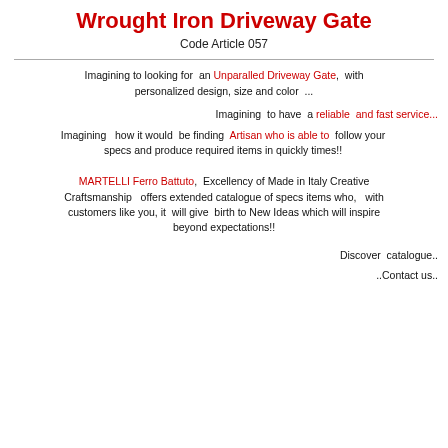Wrought Iron Driveway Gate
Code Article 057
Imagining to looking for an Unparalled Driveway Gate, with personalized design, size and color ...
Imagining to have a reliable and fast service...
Imagining how it would be finding Artisan who is able to follow your specs and produce required items in quickly times!!
MARTELLI Ferro Battuto, Excellency of Made in Italy Creative Craftsmanship offers extended catalogue of specs items who, with customers like you, it will give birth to New Ideas which will inspire beyond expectations!!
Discover catalogue..
..Contact us..